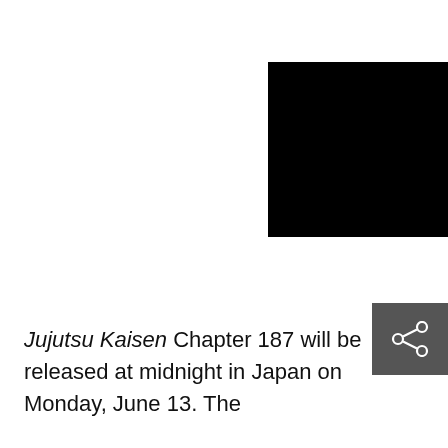[Figure (photo): A large black rectangle image occupying the upper-right portion of the page, partially cropped at the right edge.]
[Figure (other): A dark gray square button with a share/network icon (three connected circles) in white, positioned at the right side of the page.]
Jujutsu Kaisen Chapter 187 will be released at midnight in Japan on Monday, June 13. The